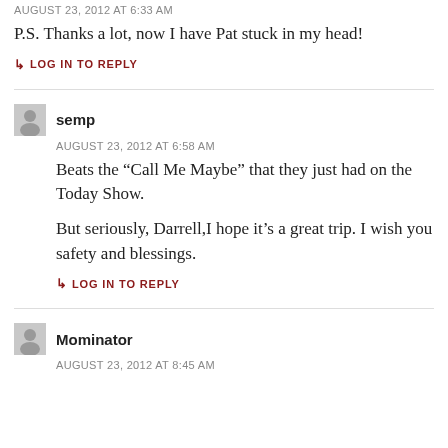AUGUST 23, 2012 AT 6:33 AM
P.S. Thanks a lot, now I have Pat stuck in my head!
LOG IN TO REPLY
semp
AUGUST 23, 2012 AT 6:58 AM
Beats the “Call Me Maybe” that they just had on the Today Show.
But seriously, Darrell,I hope it’s a great trip. I wish you safety and blessings.
LOG IN TO REPLY
Mominator
AUGUST 23, 2012 AT 8:45 AM